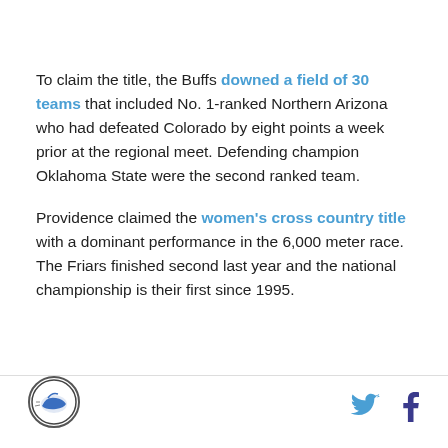To claim the title, the Buffs downed a field of 30 teams that included No. 1-ranked Northern Arizona who had defeated Colorado by eight points a week prior at the regional meet. Defending champion Oklahoma State were the second ranked team.
Providence claimed the women's cross country title with a dominant performance in the 6,000 meter race. The Friars finished second last year and the national championship is their first since 1995.
[Figure (logo): Circular logo with athletic shoe/track imagery]